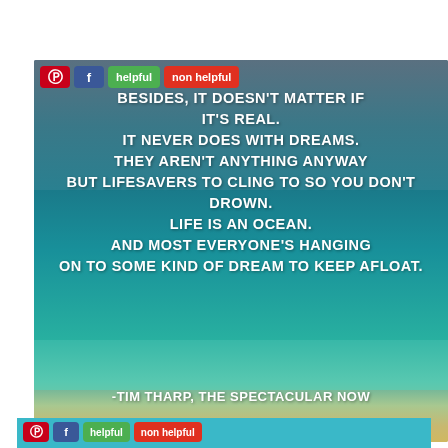[Figure (photo): Ocean/beach photo with inspirational quote text overlay. Quote reads: 'Besides, it doesn't matter if it's real. It never does with dreams. They aren't anything anyway but lifesavers to cling to so you don't drown. Life is an ocean. And most everyone's hanging on to some kind of dream to keep afloat. -Tim Tharp, The Spectacular Now'. Social sharing buttons (Pinterest, Facebook) and helpful/non helpful buttons overlaid at top left.]